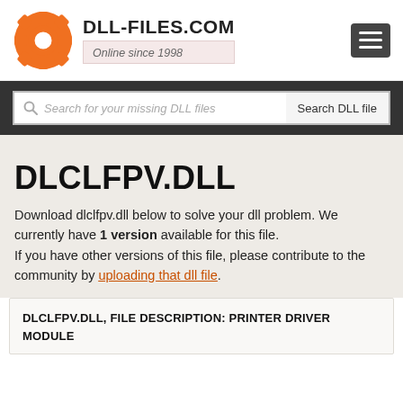[Figure (logo): DLL-FILES.COM orange gear/lifesaver logo]
DLL-FILES.COM
Online since 1998
Search for your missing DLL files
DLCLFPV.DLL
Download dlclfpv.dll below to solve your dll problem. We currently have 1 version available for this file.
If you have other versions of this file, please contribute to the community by uploading that dll file.
DLCLFPV.DLL, FILE DESCRIPTION: PRINTER DRIVER MODULE